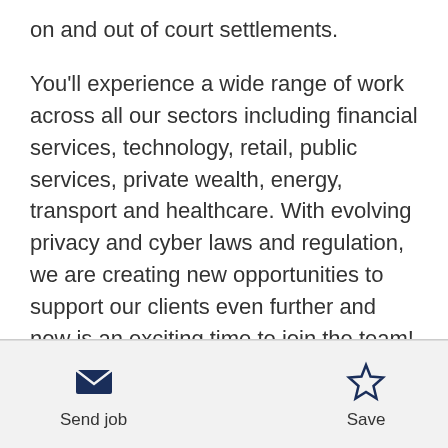on and out of court settlements.
You'll experience a wide range of work across all our sectors including financial services, technology, retail, public services, private wealth, energy, transport and healthcare. With evolving privacy and cyber laws and regulation, we are creating new opportunities to support our clients even further and now is an exciting time to join the team!
Working with the wider commercial disputes team across the country
[Figure (other): Send job button with envelope icon]
[Figure (other): Save button with star icon]